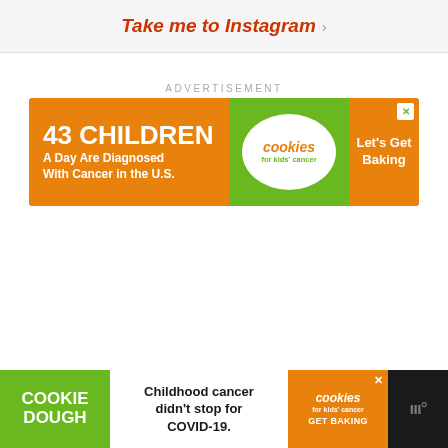Take me to Instagram →
ADVERTISEMENT
[Figure (screenshot): Advertisement banner: orange left panel with '43 CHILDREN A Day Are Diagnosed With Cancer in the U.S.', green middle panel with 'cookies for kids' cancer' logo in white bubble, orange right panel with 'Let's Get Baking'. Close X button in top right.]
[Figure (screenshot): Bottom sticky advertisement bar: green left panel with 'COOKIE DOUGH' text, white center with 'Childhood cancer didn't stop for COVID-19.', orange right panel with 'cookies for kids cancer GET BAKING' and close X button. Site logo on far right.]